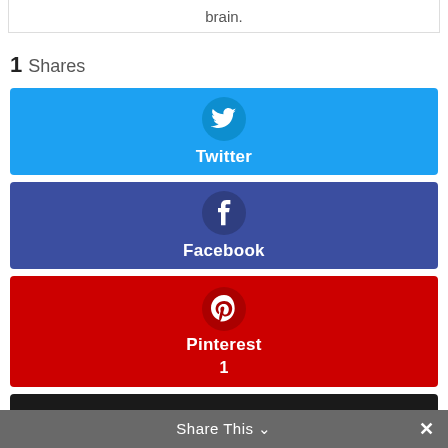brain.
1 Shares
[Figure (infographic): Twitter share button (blue background, Twitter bird icon, label 'Twitter')]
[Figure (infographic): Facebook share button (dark blue background, Facebook f icon, label 'Facebook')]
[Figure (infographic): Pinterest share button (red background, Pinterest P icon, label 'Pinterest', count '1')]
[Figure (infographic): Black share button bar (partially visible)]
Share This  ×